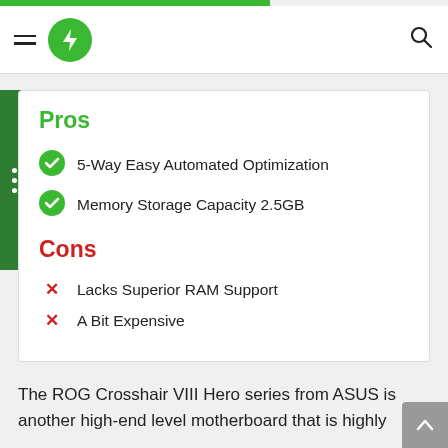Pros
5-Way Easy Automated Optimization
Memory Storage Capacity 2.5GB
Cons
Lacks Superior RAM Support
A Bit Expensive
The ROG Crosshair VIII Hero series from ASUS is another high-end level motherboard that is highly